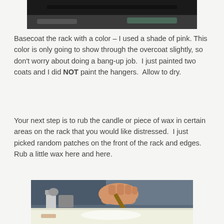[Figure (photo): Top portion of a photo showing a dark surface, partially cropped]
Basecoat the rack with a color – I used a shade of pink. This color is only going to show through the overcoat slightly, so don't worry about doing a bang-up job.  I just painted two coats and I did NOT paint the hangers.  Allow to dry.
Your next step is to rub the candle or piece of wax in certain areas on the rack that you would like distressed.  I just picked random patches on the front of the rack and edges.  Rub a little wax here and here.
[Figure (photo): A hand holding a candle or wax stick, rubbing it on a white surface (a rack), with craft supplies in the background]